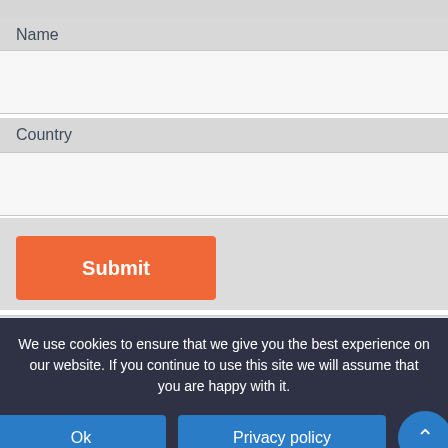Name
Country
Submit
Create your own free form with HubSpot
We use cookies to ensure that we give you the best experience on our website. If you continue to use this site we will assume that you are happy with it.
Ok
Privacy policy